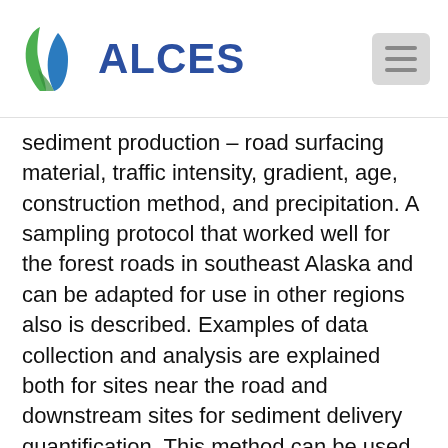ALCES
sediment production – road surfacing material, traffic intensity, gradient, age, construction method, and precipitation. A sampling protocol that worked well for the forest roads in southeast Alaska and can be adapted for use in other regions also is described. Examples of data collection and analysis are explained both for sites near the road and downstream sites for sediment delivery quantification. This method can be used to determine the downstream transport of sediment originating